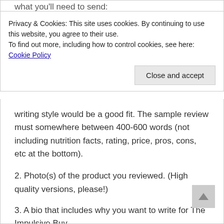what you'll need to send:
Privacy & Cookies: This site uses cookies. By continuing to use this website, you agree to their use.
To find out more, including how to control cookies, see here: Cookie Policy
Close and accept
writing style would be a good fit. The sample review must somewhere between 400-600 words (not including nutrition facts, rating, price, pros, cons, etc at the bottom).
2. Photo(s) of the product you reviewed. (High quality versions, please!)
3. A bio that includes why you want to write for The Impulsive Buy.
A Few Notes:
1. We're not only judging you on your review